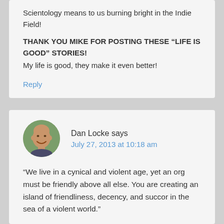Scientology means to us burning bright in the Indie Field!
THANK YOU MIKE FOR POSTING THESE “LIFE IS GOOD” STORIES!
My life is good, they make it even better!
Reply
Dan Locke says
July 27, 2013 at 10:18 am
“We live in a cynical and violent age, yet an org must be friendly above all else. You are creating an island of friendliness, decency, and succor in the sea of a violent world.”